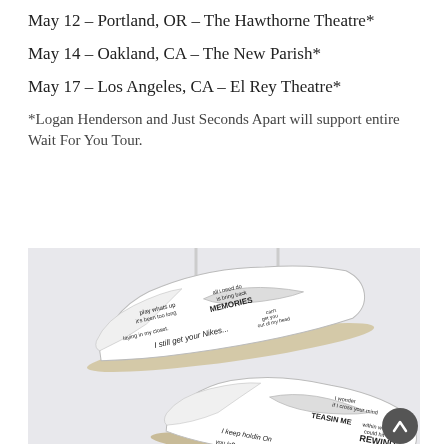May 12 – Portland, OR – The Hawthorne Theatre*
May 14 – Oakland, CA – The New Parish*
May 17 – Los Angeles, CA – El Rey Theatre*
*Logan Henderson and Just Seconds Apart will support entire Wait For You Tour.
[Figure (photo): Custom white Nike Air Force 1 sneakers hanging by laces with handwritten song lyrics written on them including 'MEMORIES', 'I still get your Nikes...', 'TEASIN ME', 'REWIND', 'I keep holdin On', 'you left something in my BED ROOM', and other lyric fragments.]